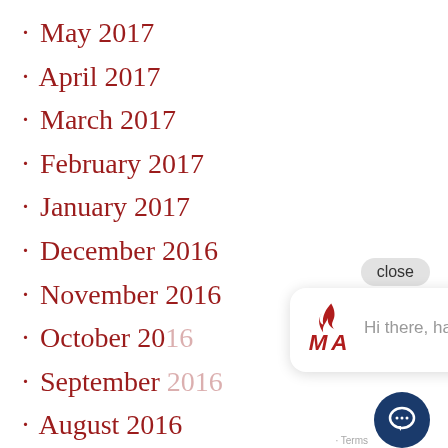· May 2017
· April 2017
· March 2017
· February 2017
· January 2017
· December 2016
· November 2016
· October 2016
· September 2016
· August 2016
· July 2016
· June 2016
[Figure (screenshot): Chat popup overlay with MSA logo and 'Hi there, have a question?' message, close button, and chat icon button]